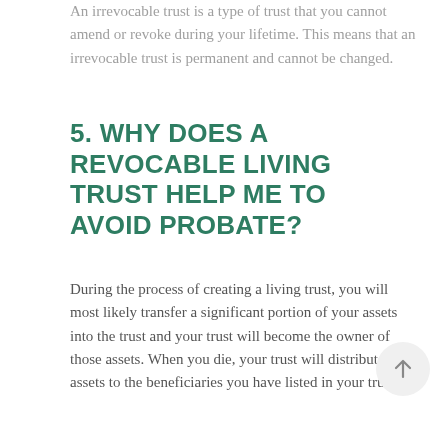An irrevocable trust is a type of trust that you cannot amend or revoke during your lifetime. This means that an irrevocable trust is permanent and cannot be changed.
5. WHY DOES A REVOCABLE LIVING TRUST HELP ME TO AVOID PROBATE?
During the process of creating a living trust, you will most likely transfer a significant portion of your assets into the trust and your trust will become the owner of those assets. When you die, your trust will distribute your assets to the beneficiaries you have listed in your trust.